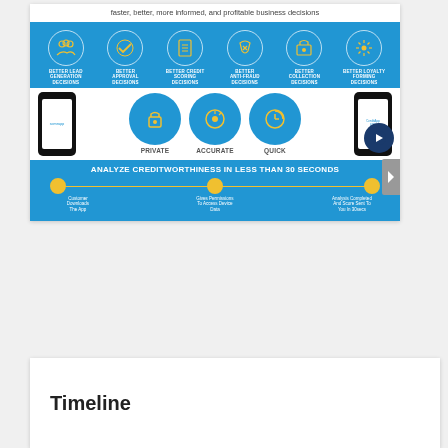faster, better, more informed, and profitable business decisions
[Figure (infographic): Infographic showing 6 better decision types (Better Lead Generation Decisions, Better Approval Decisions, Better Credit Scoring Decisions, Better Anti-Fraud Decisions, Better Collection Decisions, Better Loyalty Forming Decisions) with icons on blue background, two smartphones, three value circles (Private, Accurate, Quick), and a timeline showing 'Analyze Creditworthiness in Less Than 30 Seconds' with 3 steps: Customer Downloads The App, Gives Permissions To Access Device Data, Analysis Completed And Score Sent To You In 30secs]
Timeline